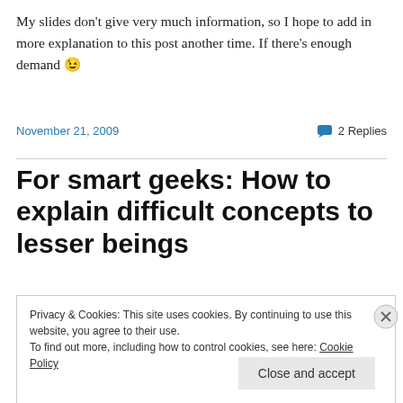My slides don't give very much information, so I hope to add in more explanation to this post another time. If there's enough demand 😉
November 21, 2009   💬 2 Replies
For smart geeks: How to explain difficult concepts to lesser beings
Privacy & Cookies: This site uses cookies. By continuing to use this website, you agree to their use.
To find out more, including how to control cookies, see here: Cookie Policy